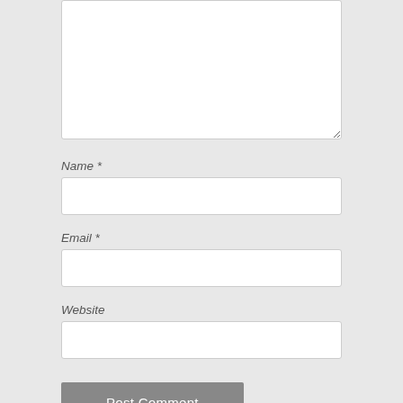[Figure (screenshot): Comment form textarea (top portion, cropped) — a large white text input box with a resize handle at the bottom right]
Name *
[Figure (screenshot): Name input field — a single-line white text box]
Email *
[Figure (screenshot): Email input field — a single-line white text box]
Website
[Figure (screenshot): Website input field — a single-line white text box]
Post Comment